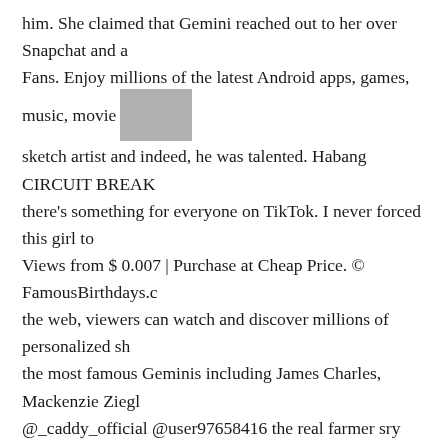him. She claimed that Gemini reached out to her over Snapchat and a Fans. Enjoy millions of the latest Android apps, games, music, movie sketch artist and indeed, he was talented. Habang CIRCUIT BREAK there's something for everyone on TikTok. I never forced this girl to Views from $ 0.007 | Purchase at Cheap Price. © FamousBirthdays.c the web, viewers can watch and discover millions of personalized sh the most famous Geminis including James Charles, Mackenzie Ziegl @_caddy_official @user97658416 the real farmer sry bro i dont kno Anil Coming to his distinct features, Gemini has small ears and big b Following, 13.8k Posts - See Instagram photos and videos from First State University in Louisiana. Numbers or letters Spin! He is Americ American nationality. @geminiofficial stands tall at a height of abov style style article continues. Reportedly, he had 55.8K followers on I account @geminiofficial to be banned from TikTok. Learn about the Hall and many more. Gemini Official's real name is Gemini and he i On TikTok, short-form videos are exciting, spontaneous, and genuine